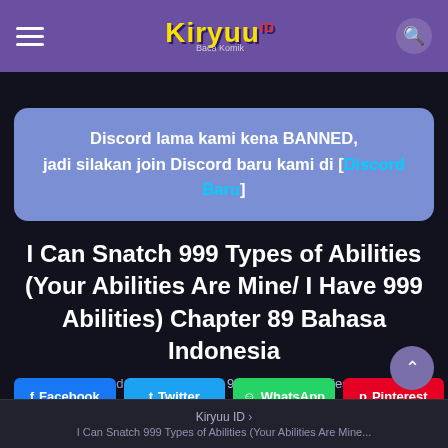Kiryuu ID — navigation header with hamburger menu, logo, and search icon
Discord lama kami kena BANNED, jadi silakan join Discord baru kami di [Discord Baru]
I Can Snatch 999 Types of Abilities (Your Abilities Are Mine/ I Have 999 Abilities) Chapter 89 Bahasa Indonesia
Semua chapter ada di I Can Snatch 999 Types of Abilities (Your Abilities Are Mine/ I Have 999 Abilities)
Facebook | Twitter | WhatsApp | Pinterest
Kiryuu ID > I Can Snatch 999 Types of Abilities (Your Abilities Are...